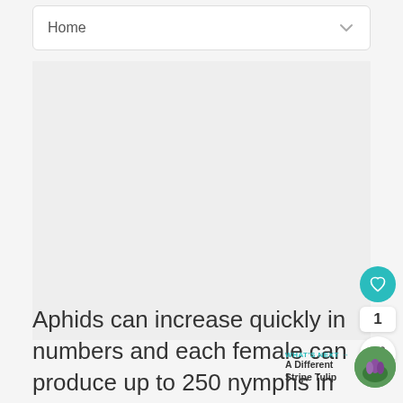Home
[Figure (other): Large blank/grey image area placeholder]
Aphids can increase quickly in numbers and each female can produce up to 250 nymphs in the course of a month without mating. Aphids often appear when the
WHAT'S NEXT → A Different Stripe Tulip